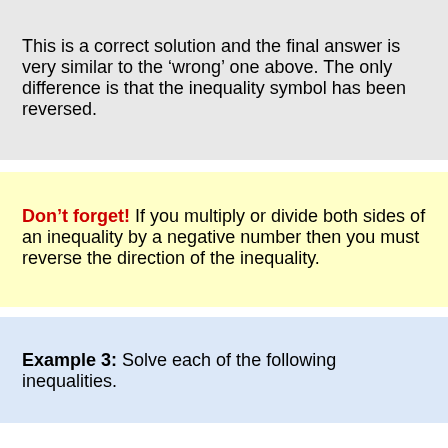This is a correct solution and the final answer is very similar to the ‘wrong’ one above. The only difference is that the inequality symbol has been reversed.
Don’t forget! If you multiply or divide both sides of an inequality by a negative number then you must reverse the direction of the inequality.
Example 3: Solve each of the following inequalities.